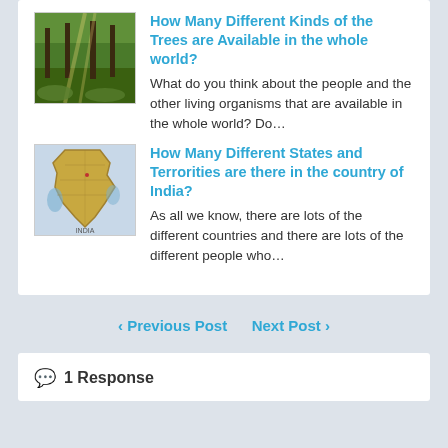[Figure (photo): Thumbnail of a forest with tall trees and light filtering through]
How Many Different Kinds of the Trees are Available in the whole world?
What do you think about the people and the other living organisms that are available in the whole world? Do…
[Figure (photo): Thumbnail of a map of India]
How Many Different States and Terrorities are there in the country of India?
As all we know, there are lots of the different countries and there are lots of the different people who…
< Previous Post   Next Post >
1 Response